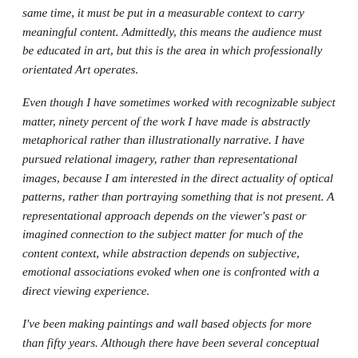same time, it must be put in a measurable context to carry meaningful content. Admittedly, this means the audience must be educated in art, but this is the area in which professionally orientated Art operates.
Even though I have sometimes worked with recognizable subject matter, ninety percent of the work I have made is abstractly metaphorical rather than illustrationally narrative. I have pursued relational imagery, rather than representational images, because I am interested in the direct actuality of optical patterns, rather than portraying something that is not present. A representational approach depends on the viewer's past or imagined connection to the subject matter for much of the content context, while abstraction depends on subjective, emotional associations evoked when one is confronted with a direct viewing experience.
I've been making paintings and wall based objects for more than fifty years. Although there have been several conceptual